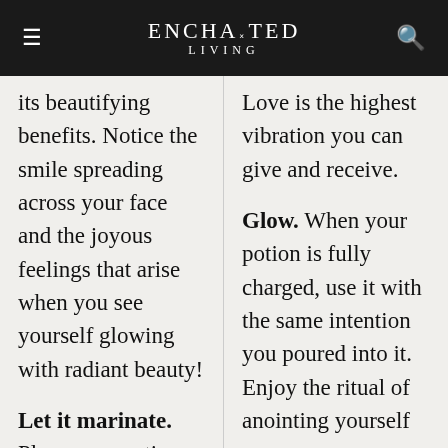ENCHANTED LIVING
its beautifying benefits. Notice the smile spreading across your face and the joyous feelings that arise when you see yourself glowing with radiant beauty!
Let it marinate. Place your potion
Love is the highest vibration you can give and receive.
Glow. When your potion is fully charged, use it with the same intention you poured into it. Enjoy the ritual of anointing yourself